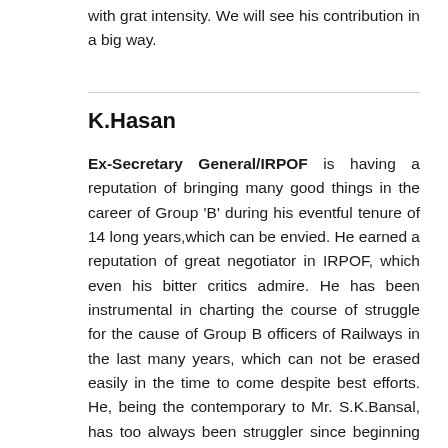with grat intensity. We will see his contribution in a big way.
K.Hasan
Ex-Secretary General/IRPOF is having a reputation of bringing many good things in the career of Group 'B' during his eventful tenure of 14 long years,which can be envied. He earned a reputation of great negotiator in IRPOF, which even his bitter critics admire. He has been instrumental in charting the course of struggle for the cause of Group B officers of Railways in the last many years, which can not be erased easily in the time to come despite best efforts. He, being the contemporary to Mr. S.K.Bansal, has too always been struggler since beginning and man of organization from the very core of the heart. He still advises many, people and organizations. Grant of scale of Rs.2375-3500 to all Group "B" and scale of Rs.8000-13500 to 80% Group 'B' officers are few notable achievements of his tenure. His desire to extend his kind